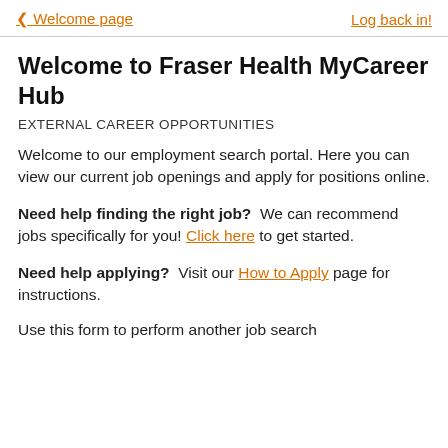< Welcome page   Log back in!
Welcome to Fraser Health MyCareer Hub
EXTERNAL CAREER OPPORTUNITIES
Welcome to our employment search portal. Here you can view our current job openings and apply for positions online.
Need help finding the right job?  We can recommend jobs specifically for you! Click here to get started.
Need help applying?  Visit our How to Apply page for instructions.
Use this form to perform another job search